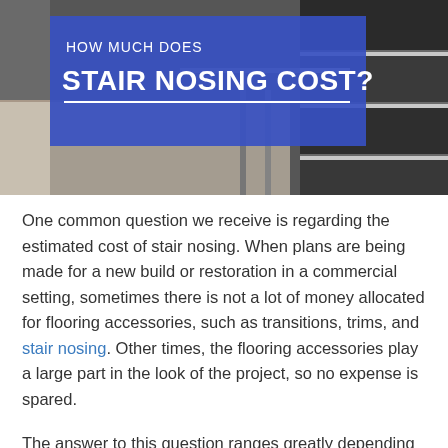[Figure (photo): Photo of stair nosing/stairs in a commercial setting with a blue overlay title box reading 'HOW MUCH DOES STAIR NOSING COST?']
HOW MUCH DOES STAIR NOSING COST?
One common question we receive is regarding the estimated cost of stair nosing. When plans are being made for a new build or restoration in a commercial setting, sometimes there is not a lot of money allocated for flooring accessories, such as transitions, trims, and stair nosing. Other times, the flooring accessories play a large part in the look of the project, so no expense is spared.
The answer to this question ranges greatly depending on the stair nosing brand and product selected. At Optimum Technologies, we work with Gradus products, which offer a range of stair nosing options